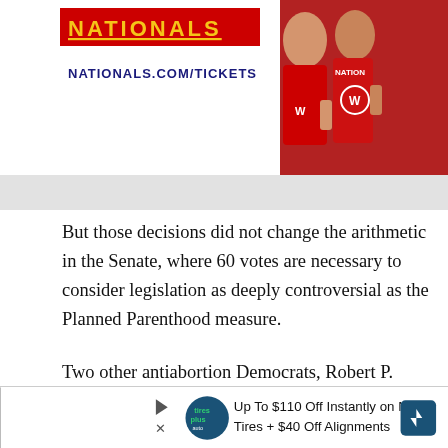[Figure (photo): Washington Nationals advertisement banner with logo text 'NATIONALS.COM/TICKETS' on left and fans in red Nationals jerseys on the right]
But those decisions did not change the arithmetic in the Senate, where 60 votes are necessary to consider legislation as deeply controversial as the Planned Parenthood measure.
Two other antiabortion Democrats, Robert P. Casey Jr. (Pa.) and Heidi Heitkamp (N.D.), did not support the bill, and Republican Mark Kirk (Ill.), who faces a difficult
[Figure (infographic): Bottom advertisement: 'Up To $110 Off Instantly on New Tires + $40 Off Alignments' with Tires Plus logo]